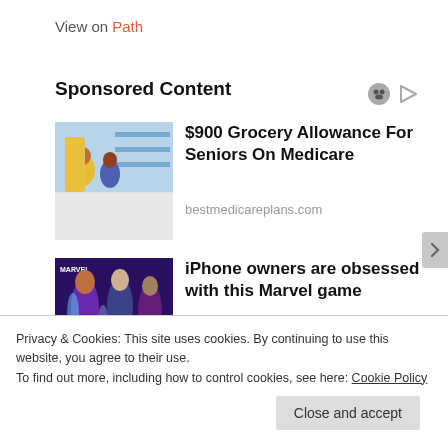View on Path
Sponsored Content
[Figure (photo): Photo of people shopping in grocery store aisle]
$900 Grocery Allowance For Seniors On Medicare
bestmedicareplans.com
[Figure (illustration): Marvel Strike Force game promotional artwork with characters]
iPhone owners are obsessed with this Marvel game
Privacy & Cookies: This site uses cookies. By continuing to use this website, you agree to their use.
To find out more, including how to control cookies, see here: Cookie Policy
Close and accept